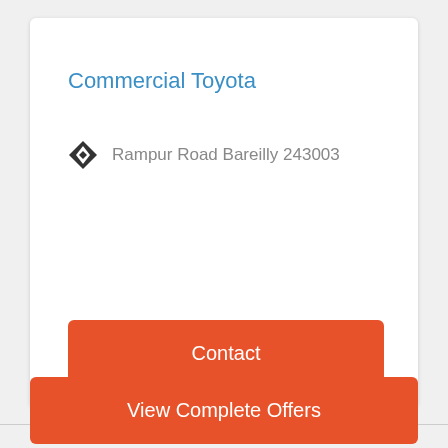Commercial Toyota
Rampur Road Bareilly 243003
Contact
View Complete Offers